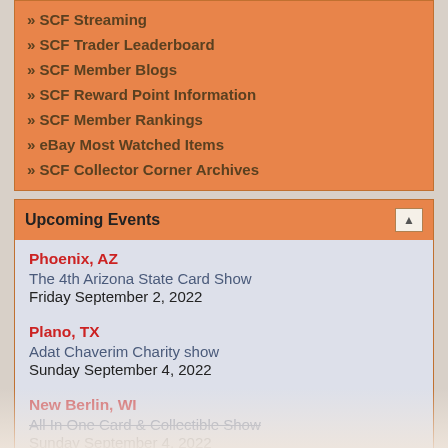» SCF Streaming
» SCF Trader Leaderboard
» SCF Member Blogs
» SCF Reward Point Information
» SCF Member Rankings
» eBay Most Watched Items
» SCF Collector Corner Archives
Upcoming Events
Phoenix, AZ
The 4th Arizona State Card Show
Friday September 2, 2022
Plano, TX
Adat Chaverim Charity show
Sunday September 4, 2022
New Berlin, WI
All In One Card & Collectible Show
Sunday September 4, 2022
Durham, NC